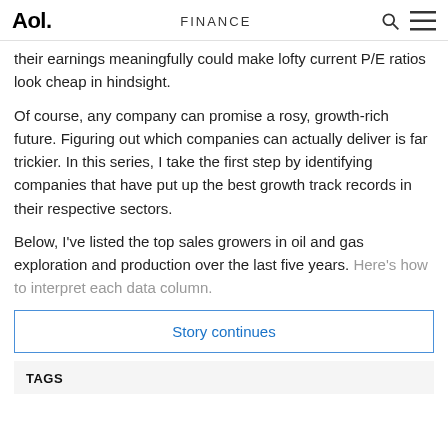Aol. FINANCE
their earnings meaningfully could make lofty current P/E ratios look cheap in hindsight.
Of course, any company can promise a rosy, growth-rich future. Figuring out which companies can actually deliver is far trickier. In this series, I take the first step by identifying companies that have put up the best growth track records in their respective sectors.
Below, I've listed the top sales growers in oil and gas exploration and production over the last five years. Here's how to interpret each data column.
Story continues
TAGS